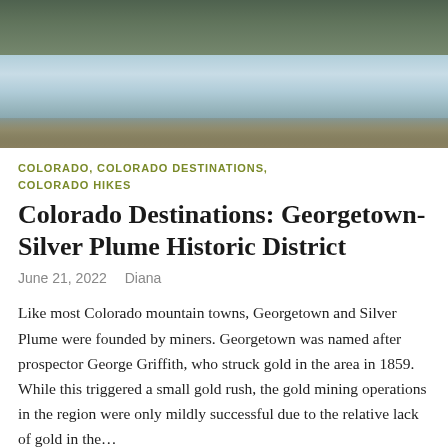[Figure (photo): Aerial or wide-angle view of a mountain lake or reservoir near Georgetown, Colorado, with forested hillsides and buildings in the background, partially frozen water surface visible]
COLORADO, COLORADO DESTINATIONS, COLORADO HIKES
Colorado Destinations: Georgetown-Silver Plume Historic District
June 21, 2022   Diana
Like most Colorado mountain towns, Georgetown and Silver Plume were founded by miners. Georgetown was named after prospector George Griffith, who struck gold in the area in 1859. While this triggered a small gold rush, the gold mining operations in the region were only mildly successful due to the relative lack of gold in the…
Continue reading